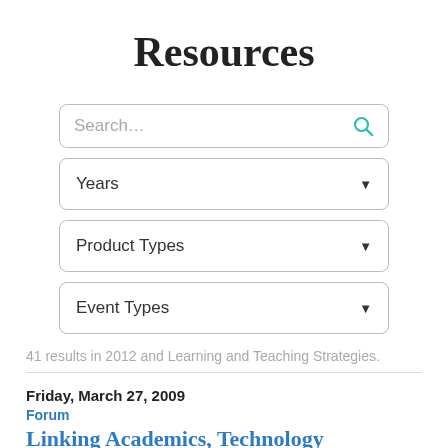Resources
[Figure (screenshot): Search input box with placeholder text 'Search…' and a teal magnifying glass icon on the right]
[Figure (screenshot): Dropdown selector labeled 'Years' with a downward arrow]
[Figure (screenshot): Dropdown selector labeled 'Product Types' with a downward arrow]
[Figure (screenshot): Dropdown selector labeled 'Event Types' with a downward arrow]
41 results in 2012 and Learning and Teaching Strategies.
Friday, March 27, 2009
Forum
Linking Academics, Technology